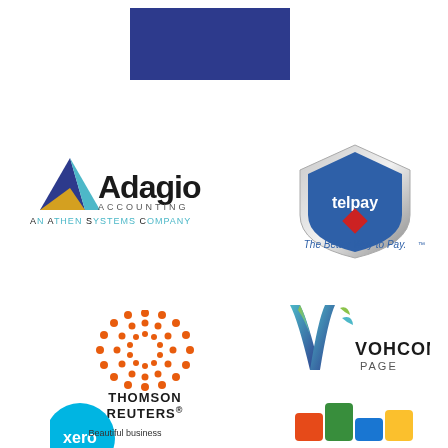[Figure (logo): Blue rectangle (part of a logo, likely top portion of a company logo)]
[Figure (logo): Adagio Accounting - An Athen Systems Company logo with triangular arrow icon]
[Figure (logo): Telpay shield logo with text 'The Better Way to Pay.' trademark]
[Figure (logo): Thomson Reuters logo with orange dotted circle pattern and registered trademark]
[Figure (logo): Vohcom Page logo with stylized V made of leaf/feather shapes]
[Figure (logo): Xero logo - partial circular blue logo with 'xero' text and 'Beautiful business' tagline]
[Figure (logo): Zoho logo - colorful building blocks style logo]